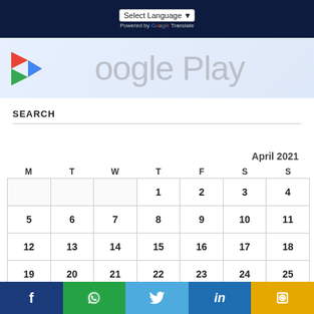Select Language  Powered by Google Translate
[Figure (logo): Google Play banner with colorful logo icon and grey 'Google Play' text on light blue background]
SEARCH
April 2021
| M | T | W | T | F | S | S |
| --- | --- | --- | --- | --- | --- | --- |
|  |  |  | 1 | 2 | 3 | 4 |
| 5 | 6 | 7 | 8 | 9 | 10 | 11 |
| 12 | 13 | 14 | 15 | 16 | 17 | 18 |
| 19 | 20 | 21 | 22 | 23 | 24 | 25 |
f  WhatsApp  Twitter  in  Link